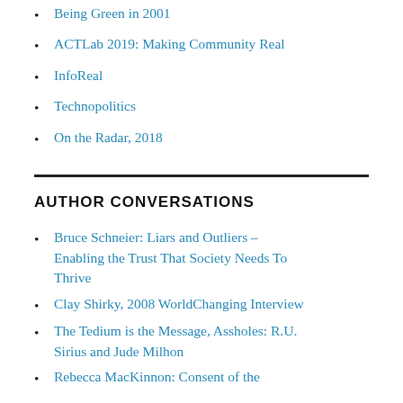Being Green in 2001
ACTLab 2019: Making Community Real
InfoReal
Technopolitics
On the Radar, 2018
AUTHOR CONVERSATIONS
Bruce Schneier: Liars and Outliers – Enabling the Trust That Society Needs To Thrive
Clay Shirky, 2008 WorldChanging Interview
The Tedium is the Message, Assholes: R.U. Sirius and Jude Milhon
Rebecca MacKinnon: Consent of the